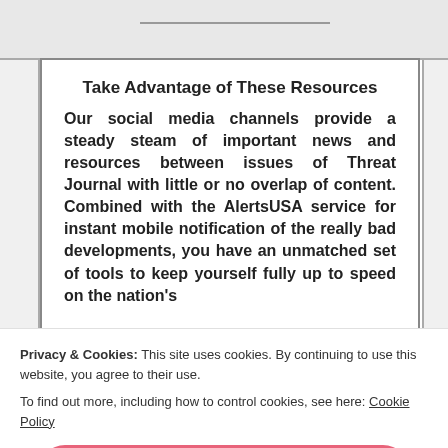Take Advantage of These Resources
Our social media channels provide a steady steam of important news and resources between issues of Threat Journal with little or no overlap of content. Combined with the AlertsUSA service for instant mobile notification of the really bad developments, you have an unmatched set of tools to keep yourself fully up to speed on the nation's
Privacy & Cookies: This site uses cookies. By continuing to use this website, you agree to their use.
To find out more, including how to control cookies, see here: Cookie Policy
Close and accept